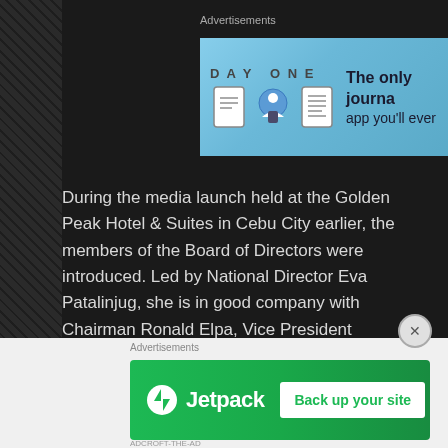Advertisements
[Figure (screenshot): Day One app advertisement banner with blue background showing app icons and text 'The only journa... app you'll ever']
During the media launch held at the Golden Peak Hotel & Suites in Cebu City earlier, the members of the Board of Directors were introduced. Led by National Director Eva Patalinjug, she is in good company with Chairman Ronald Elpa, Vice President Jesselle Saniel, Operations Director Roy Erwin Tizon, PR Director Maria Alma Maria, Director of Communications Auguste Izhar Pepito, Finance Director Sugar Borja Sagarino, Director of Legal Affairs Christian Bacus and Director of Charity Karla Tandoy.
About the logo above:
Advertisements
[Figure (screenshot): Jetpack advertisement banner with green background showing Jetpack logo and 'Back up your site' button]